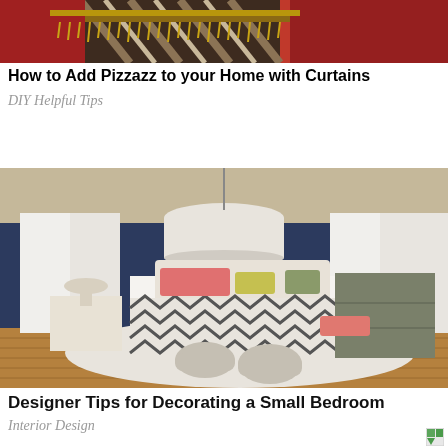[Figure (photo): Photo of red and striped curtains with gold fringe trim]
How to Add Pizzazz to your Home with Curtains
DIY Helpful Tips
[Figure (photo): Photo of a small bedroom with navy blue walls, white curtains, chevron bedspread, and two round ottomans]
Designer Tips for Decorating a Small Bedroom
Interior Design